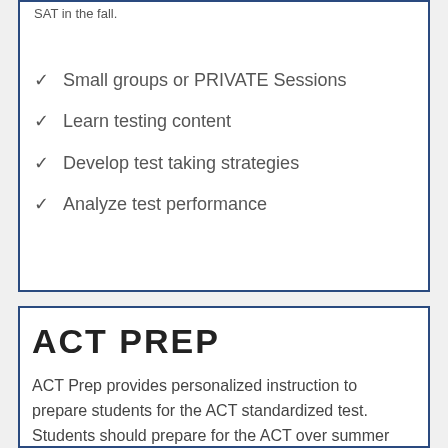SAT in the fall.
Small groups or PRIVATE Sessions
Learn testing content
Develop test taking strategies
Analyze test performance
ACT PREP
ACT Prep provides personalized instruction to prepare students for the ACT standardized test. Students should prepare for the ACT over summer break and take the ACT in the fall.